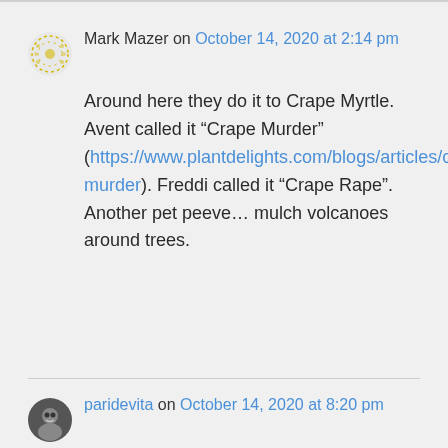Mark Mazer on October 14, 2020 at 2:14 pm
Around here they do it to Crape Myrtle. Avent called it “Crape Murder” (https://www.plantdelights.com/blogs/articles/crape-murder). Freddi called it “Crape Rape”. Another pet peeve… mulch volcanoes around trees.
paridevita on October 14, 2020 at 8:20 pm